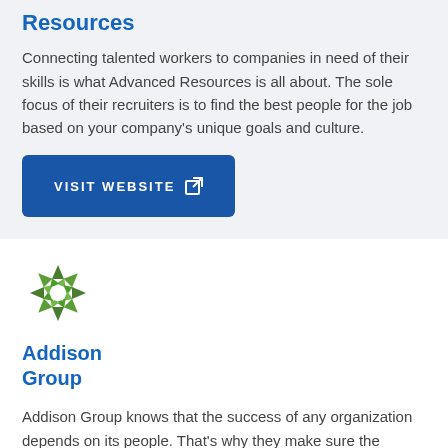Resources
Connecting talented workers to companies in need of their skills is what Advanced Resources is all about. The sole focus of their recruiters is to find the best people for the job based on your company's unique goals and culture.
[Figure (other): Blue button labeled VISIT WEBSITE with external link icon]
[Figure (logo): Addison Group logo — green starburst/flower shape with white star center]
Addison Group
Addison Group knows that the success of any organization depends on its people. That's why they make sure the candidates they match you with will not only be a good fit